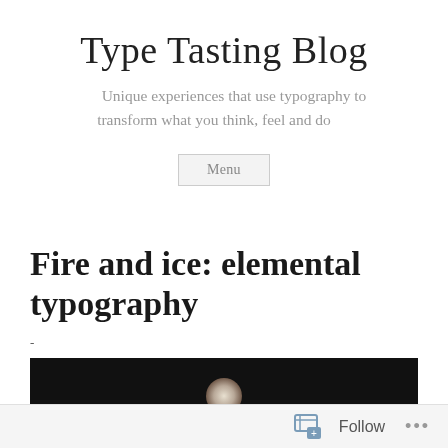Type Tasting Blog
Unique experiences that use typography to transform what you think, feel and do
Menu
Fire and ice: elemental typography
-
[Figure (photo): Dark background image with a glowing circular light element at the bottom center]
Follow ...